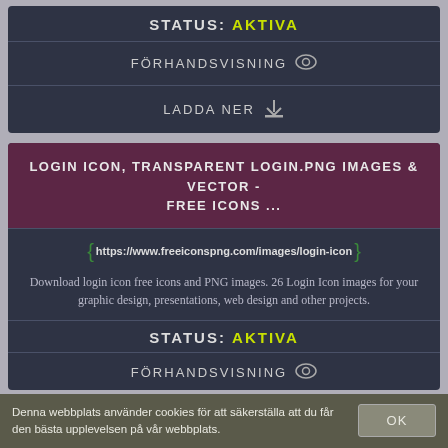STATUS: AKTIVA
FÖRHANDSVISNING
LADDA NER
LOGIN ICON, TRANSPARENT LOGIN.PNG IMAGES & VECTOR - FREE ICONS ...
https://www.freeiconspng.com/images/login-icon
Download login icon free icons and PNG images. 26 Login Icon images for your graphic design, presentations, web design and other projects.
STATUS: AKTIVA
FÖRHANDSVISNING
Denna webbplats använder cookies för att säkerställa att du får den bästa upplevelsen på vår webbplats.